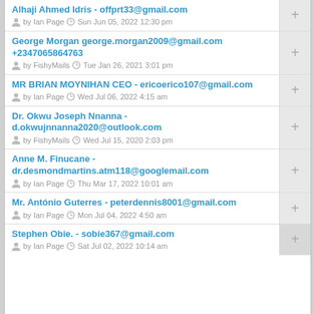Alhaji Ahmed Idris - offprt33@gmail.com
by Ian Page  Sun Jun 05, 2022 12:30 pm
George Morgan george.morgan2009@gmail.com +2347065864763
by FishyMails  Tue Jan 26, 2021 3:01 pm
MR BRIAN MOYNIHAN CEO - ericoerico107@gmail.com
by Ian Page  Wed Jul 06, 2022 4:15 am
Dr. Okwu Joseph Nnanna - d.okwujnnanna2020@outlook.com
by FishyMails  Wed Jul 15, 2020 2:03 pm
Anne M. Finucane - dr.desmondmartins.atm118@googlemail.com
by Ian Page  Thu Mar 17, 2022 10:01 am
Mr. António Guterres - peterdennis8001@gmail.com
by Ian Page  Mon Jul 04, 2022 4:50 am
Stephen Obie. - sobie367@gmail.com
by Ian Page  Sat Jul 02, 2022 10:14 am